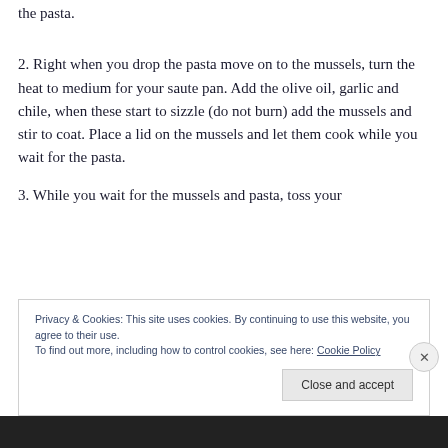the pasta.
2. Right when you drop the pasta move on to the mussels, turn the heat to medium for your saute pan. Add the olive oil, garlic and chile, when these start to sizzle (do not burn) add the mussels and stir to coat. Place a lid on the mussels and let them cook while you wait for the pasta.
3. While you wait for the mussels and pasta, toss your
Privacy & Cookies: This site uses cookies. By continuing to use this website, you agree to their use.
To find out more, including how to control cookies, see here: Cookie Policy
Close and accept